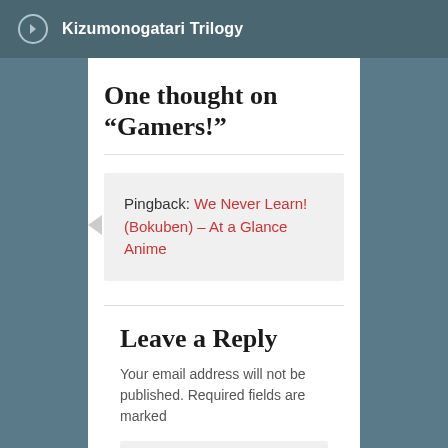Kizumonogatari Trilogy
One thought on “Gamers!”
Pingback: We Never Learn! (Bokuben) – At a Glance Anime
Leave a Reply
Your email address will not be published. Required fields are marked